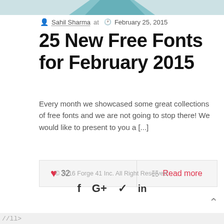[Figure (photo): Partial image at top of page showing teal/blue geometric design or illustration, cropped]
Sahil Sharma at  February 25, 2015
25 New Free Fonts for February 2015
Every month we showcased some great collections of free fonts and we are not going to stop there! We would like to present to you a [...]
♥ 32   Read more
© 2016 Forge 41 Inc. All Right Reserved.
f  G+  🐦  in
//ll>